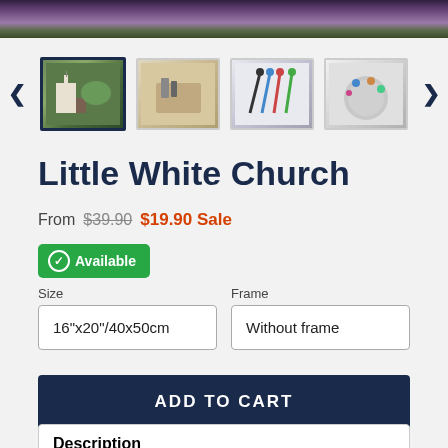[Figure (photo): Product thumbnail gallery row with navigation arrows and 4 product images: selected church painting, art supplies, paint tools, beads]
Little White Church
From $39.90 $19.90 Sale
Available
Size: 16"x20"/40x50cm  Frame: Without frame
ADD TO CART
Description